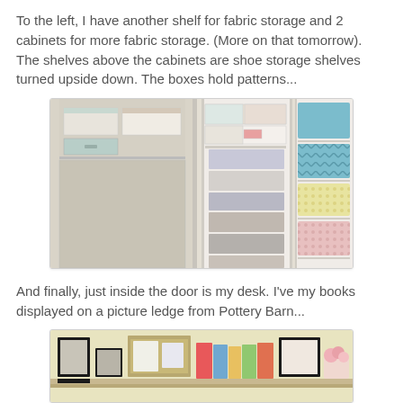To the left, I have another shelf for fabric storage and 2 cabinets for more fabric storage. (More on that tomorrow). The shelves above the cabinets are shoe storage shelves turned upside down. The boxes hold patterns...
[Figure (photo): Photo of fabric storage shelves and cabinets with boxes and colorful patterned bins on shelves.]
And finally, just inside the door is my desk. I've my books displayed on a picture ledge from Pottery Barn...
[Figure (photo): Photo of a picture ledge on a wall displaying framed photos and books, with a bulletin board.]